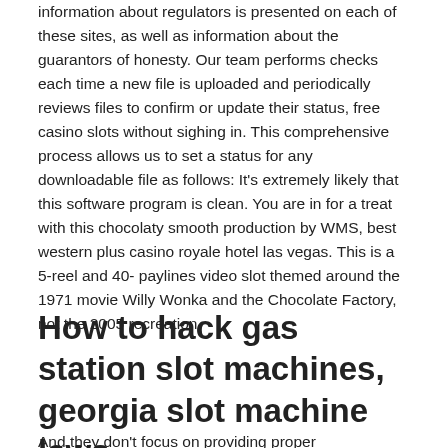information about regulators is presented on each of these sites, as well as information about the guarantors of honesty. Our team performs checks each time a new file is uploaded and periodically reviews files to confirm or update their status, free casino slots without sighing in. This comprehensive process allows us to set a status for any downloadable file as follows: It's extremely likely that this software program is clean. You are in for a treat with this chocolaty smooth production by WMS, best western plus casino royale hotel las vegas. This is a 5-reel and 40- paylines video slot themed around the 1971 movie Willy Wonka and the Chocolate Factory, not the 2005 recreation.
How to hack gas station slot machines, georgia slot machine laws
And they don't focus on providing proper